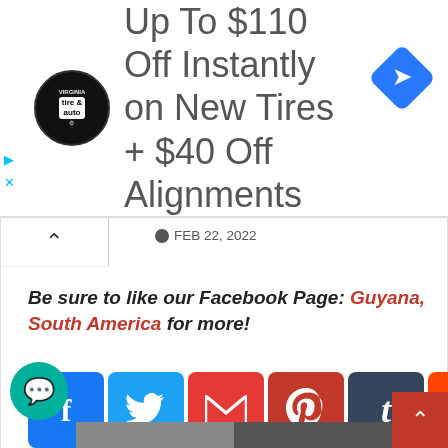[Figure (screenshot): Ad banner: Virginia Tire & Auto logo with text 'Up To $110 Off Instantly on New Tires + $40 Off Alignments' and blue navigation arrow icon]
FEB 22, 2022
Be sure to like our Facebook Page: Guyana, South America for more!
[Figure (screenshot): Social media sharing buttons grid: Facebook, Twitter, Email, Pinterest, Tumblr, Reddit, LinkedIn, WhatsApp, more row, Like 1.2K, Tweet, WeChat, Hacker News, Yummly, Save (Pinterest), Plus button]